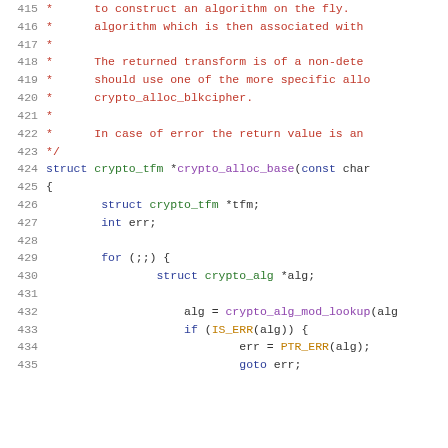[Figure (screenshot): Source code listing showing lines 415-435 of a C file with crypto_alloc_base function, including comments and code with syntax highlighting. Line numbers in grey, comments in red, keywords in blue, function calls in purple, types in green.]